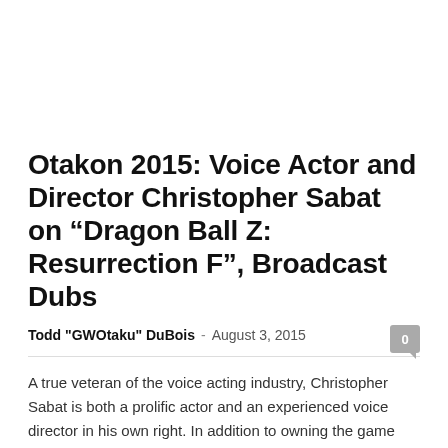Otakon 2015: Voice Actor and Director Christopher Sabat on “Dragon Ball Z: Resurrection F”, Broadcast Dubs
Todd "GWOtaku" DuBois - August 3, 2015
A true veteran of the voice acting industry, Christopher Sabat is both a prolific actor and an experienced voice director in his own right. In addition to owning the game audio and voice-over production studio Okratron 5000 in Dallas,...